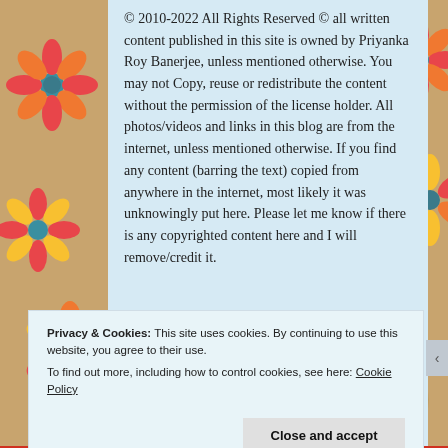© 2010-2022 All Rights Reserved © all written content published in this site is owned by Priyanka Roy Banerjee, unless mentioned otherwise. You may not Copy, reuse or redistribute the content without the permission of the license holder. All photos/videos and links in this blog are from the internet, unless mentioned otherwise. If you find any content (barring the text) copied from anywhere in the internet, most likely it was unknowingly put here. Please let me know if there is any copyrighted content here and I will remove/credit it.
Advertisements
Privacy & Cookies: This site uses cookies. By continuing to use this website, you agree to their use.
To find out more, including how to control cookies, see here: Cookie Policy